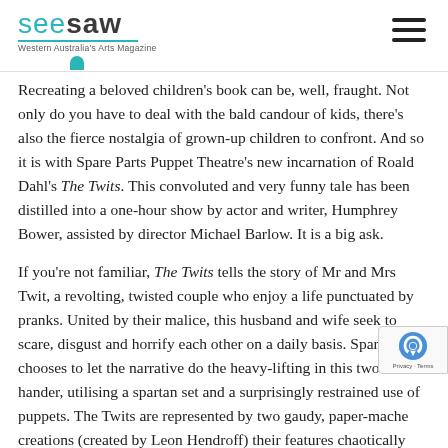seesaw — Western Australia's Arts Magazine
Recreating a beloved children's book can be, well, fraught. Not only do you have to deal with the bald candour of kids, there's also the fierce nostalgia of grown-up children to confront. And so it is with Spare Parts Puppet Theatre's new incarnation of Roald Dahl's The Twits. This convoluted and very funny tale has been distilled into a one-hour show by actor and writer, Humphrey Bower, assisted by director Michael Barlow. It is a big ask.
If you're not familiar, The Twits tells the story of Mr and Mrs Twit, a revolting, twisted couple who enjoy a life punctuated by pranks. United by their malice, this husband and wife seek to scare, disgust and horrify each other on a daily basis. Spare Parts chooses to let the narrative do the heavy-lifting in this two-hander, utilising a spartan set and a surprisingly restrained use of puppets. The Twits are represented by two gaudy, paper-mache creations (created by Leon Hendroff) their features chaotically adrift on their face, the first of several unusual choices – the characters in the